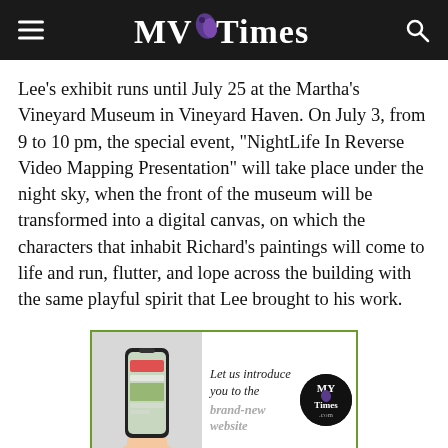MV Times
Lee’s exhibit runs until July 25 at the Martha’s Vineyard Museum in Vineyard Haven. On July 3, from 9 to 10 pm, the special event, “NightLife In Reverse Video Mapping Presentation” will take place under the night sky, when the front of the museum will be transformed into a digital canvas, on which the characters that inhabit Richard’s paintings will come to life and run, flutter, and lope across the building with the same playful spirit that Lee brought to his work.
[Figure (infographic): Advertisement for MV Times brand-new website showing a hand holding a smartphone with the Edible Vineyard website displayed. Text reads 'Let us introduce you to the brand-new website' with MV Times logo badge.]